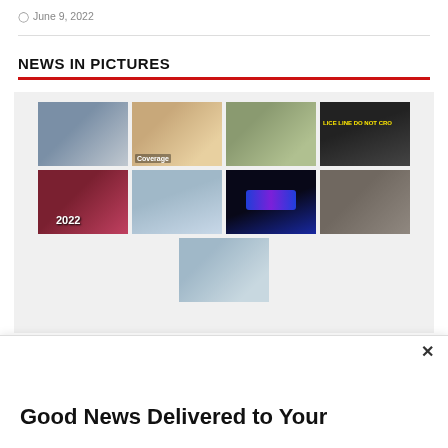June 9, 2022
NEWS IN PICTURES
[Figure (photo): A 3x3 photo gallery showing 9 news images: people in a gym/studio setting, a laptop with coffee, a close-up of an alligator or turtle, police caution tape, two women in graduation attire holding '2022', a person standing by the water, police car lights, a man by a stone wall, and a person in marching band uniform with a drum.]
Good News Delivered to Your